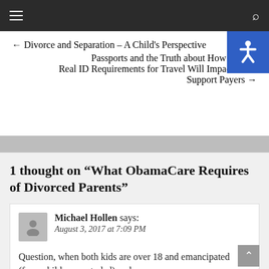Navigation bar with hamburger menu and search icon
← Divorce and Separation – A Child's Perspective
Passports and the Truth about How the Federal Real ID Requirements for Travel Will Impact Child Support Payers →
1 thought on “What ObamaCare Requires of Divorced Parents”
Michael Hollen says:
August 3, 2017 at 7:09 PM
Question, when both kids are over 18 and emancipated (from child support, dad) and